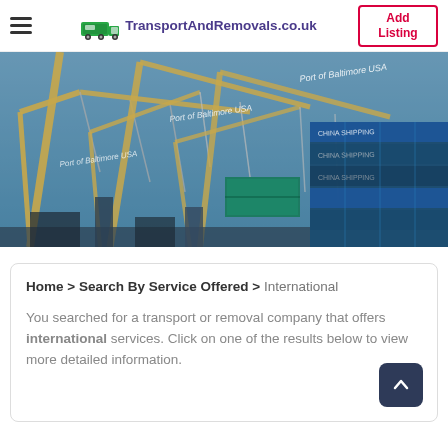TransportAndRemovals.co.uk | Add Listing
[Figure (photo): Port of Baltimore USA with large cargo cranes and stacked shipping containers under a blue sky]
Home > Search By Service Offered > International
You searched for a transport or removal company that offers international services. Click on one of the results below to view more detailed information.